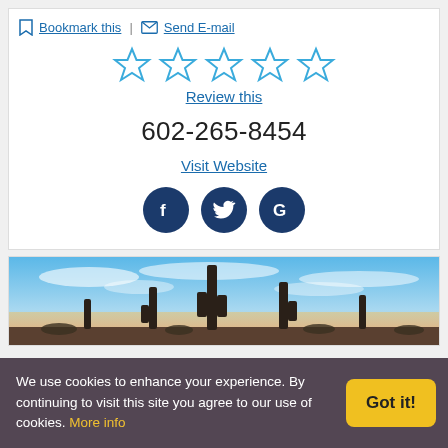Bookmark this | Send E-mail
[Figure (other): Five empty star rating icons in blue outline style]
Review this
602-265-8454
Visit Website
[Figure (other): Three dark blue circular social media icons: Facebook (f), Twitter (bird), Google (G)]
[Figure (photo): Desert landscape photo showing tall saguaro cacti silhouetted against a blue sky with clouds at sunset/sunrise, warm orange and pink hues on horizon]
We use cookies to enhance your experience. By continuing to visit this site you agree to our use of cookies. More info